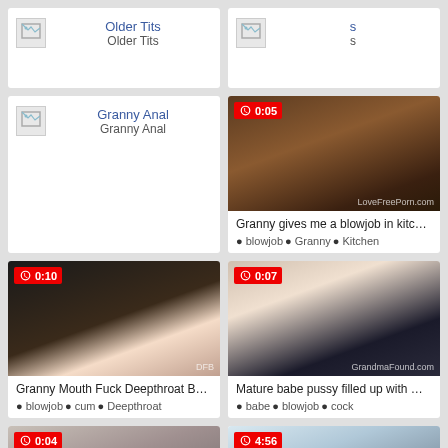[Figure (screenshot): Older Tits link card with broken image icon]
[Figure (screenshot): S link card with broken image icon]
[Figure (screenshot): Granny Anal link card with broken image icon]
[Figure (screenshot): Video thumbnail: Granny gives me a blowjob in kitc... with tags blowjob, Granny, Kitchen. Duration 0:05]
[Figure (screenshot): Video thumbnail: Granny Mouth Fuck Deepthroat B... with tags blowjob, cum, Deepthroat. Duration 0:10]
[Figure (screenshot): Video thumbnail: Mature babe pussy filled up with ... with tags babe, blowjob, cock. Duration 0:07]
[Figure (screenshot): Video thumbnail partial bottom row left, duration 0:04]
[Figure (screenshot): Video thumbnail partial bottom row right, duration 4:56]